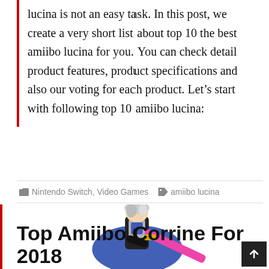lucina is not an easy task. In this post, we create a very short list about top 10 the best amiibo lucina for you. You can check detail product features, product specifications and also our voting for each product. Let’s start with following top 10 amiibo lucina:
Nintendo Switch, Video Games   amiibo lucina
[Figure (illustration): Figurine of a character with silver-white hair wearing black and white outfit and blue cape, wielding a pink ornate sword. The character is posed dynamically.]
Top Amiibo Corrine For 2018